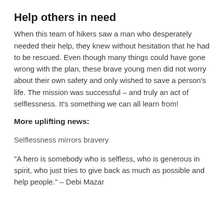Help others in need
When this team of hikers saw a man who desperately needed their help, they knew without hesitation that he had to be rescued. Even though many things could have gone wrong with the plan, these brave young men did not worry about their own safety and only wished to save a person's life. The mission was successful – and truly an act of selflessness. It's something we can all learn from!
More uplifting news:
Selflessness mirrors bravery
“A hero is somebody who is selfless, who is generous in spirit, who just tries to give back as much as possible and help people.” – Debi Mazar